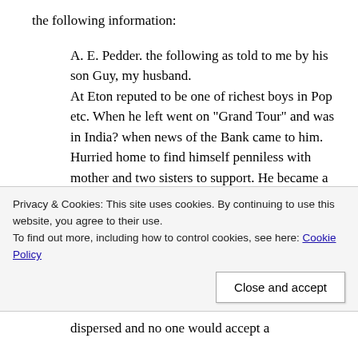the following information:
A. E. Pedder. the following as told to me by his son Guy, my husband. At Eton reputed to be one of richest boys in Pop etc. When he left went on "Grand Tour" and was in India? when news of the Bank came to him. Hurried home to find himself penniless with mother and two sisters to support. He became a clerk in a bank. When Eton boys and masters heard of his ill luck, they sent round the hats. boys giving him
Privacy & Cookies: This site uses cookies. By continuing to use this website, you agree to their use.
To find out more, including how to control cookies, see here: Cookie Policy
Close and accept
dispersed and no one would accept a